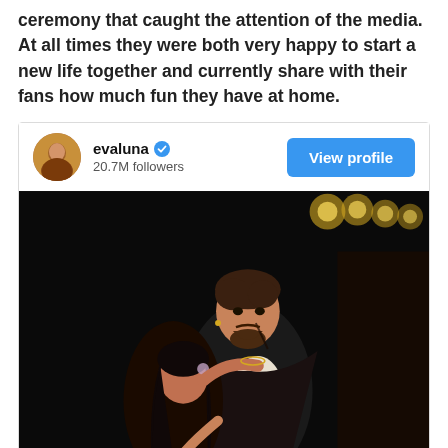ceremony that caught the attention of the media. At all times they were both very happy to start a new life together and currently share with their fans how much fun they have at home.
[Figure (screenshot): Instagram profile card for evaluna showing username, blue verified checkmark, 20.7M followers, and a View profile button in blue.]
[Figure (photo): A couple in theatrical costume on a dark stage. A man with styled hair, facial makeup and dark costume holds a woman with long dark hair from behind; stage lights visible in background.]